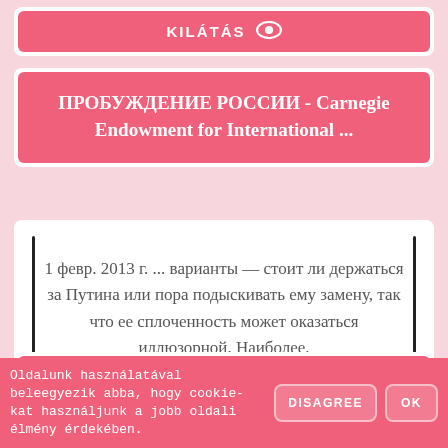KILÁTÁS
ПРОБУЖДЕНИЕ РОССИИ - Carnegie Endowment for International ...
1 февр. 2013 г. ... варианты — стоит ли держаться за Путина или пора подыскивать ему замену, так что ее сплоченность может оказаться иллюзорной. Наиболее.
KILÁTÁS
Oldalunk használatával beleegyezik abba, hogy cookie-kat használjunk a jobb oldali élmény érdekében.